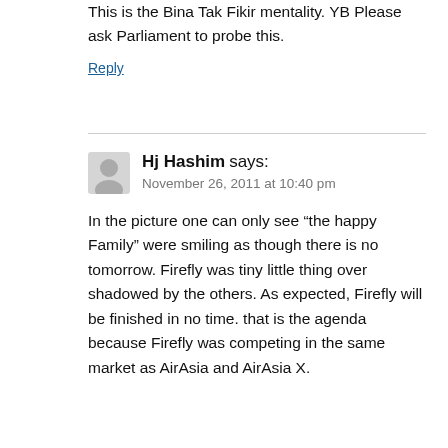This is the Bina Tak Fikir mentality. YB Please ask Parliament to probe this.
Reply
Hj Hashim says:
November 26, 2011 at 10:40 pm
In the picture one can only see “the happy Family” were smiling as though there is no tomorrow. Firefly was tiny little thing over shadowed by the others. As expected, Firefly will be finished in no time. that is the agenda because Firefly was competing in the same market as AirAsia and AirAsia X.